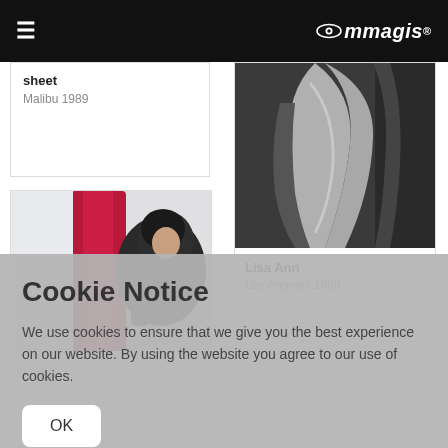≡  immagis
sheet
Malibu 1989
[Figure (photo): Color photo of a person wearing red/magenta outfit, partially visible]
[Figure (photo): Black and white artistic nude photo showing curved body silhouette]
Lisa Ann
Los Angeles 1988
Cookie Notice
We use cookies to ensure that we give you the best experience on our website. By using the website you agree to our use of cookies.
OK